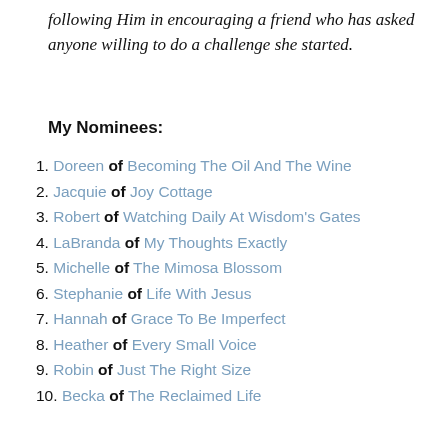following Him in encouraging a friend who has asked anyone willing to do a challenge she started.
My Nominees:
1. Doreen of Becoming The Oil And The Wine
2. Jacquie of Joy Cottage
3. Robert of Watching Daily At Wisdom's Gates
4. LaBranda of My Thoughts Exactly
5. Michelle of The Mimosa Blossom
6. Stephanie of Life With Jesus
7. Hannah of Grace To Be Imperfect
8. Heather of Every Small Voice
9. Robin of Just The Right Size
10. Becka of The Reclaimed Life